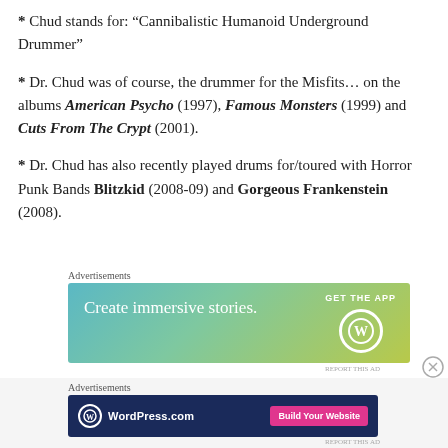* Chud stands for: “Cannibalistic Humanoid Underground Drummer”
* Dr. Chud was of course, the drummer for the Misfits… on the albums American Psycho (1997), Famous Monsters (1999) and Cuts From The Crypt (2001).
* Dr. Chud has also recently played drums for/toured with Horror Punk Bands Blitzkid (2008-09) and Gorgeous Frankenstein (2008).
[Figure (screenshot): Advertisement banner: gradient blue-green background with text 'Create immersive stories.' and 'GET THE APP' with WordPress logo circle]
[Figure (screenshot): Advertisement banner: dark navy background with WordPress.com logo on left and 'Build Your Website' pink button on right]